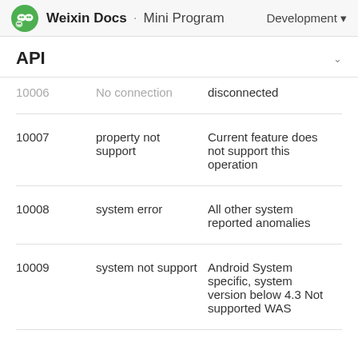Weixin Docs · Mini Program   Development
API
| Code | Short Description | Description |
| --- | --- | --- |
| 10006 | No connection | disconnected |
| 10007 | property not support | Current feature does not support this operation |
| 10008 | system error | All other system reported anomalies |
| 10009 | system not support | Android System specific, system version below 4.3 Not supported WAS |